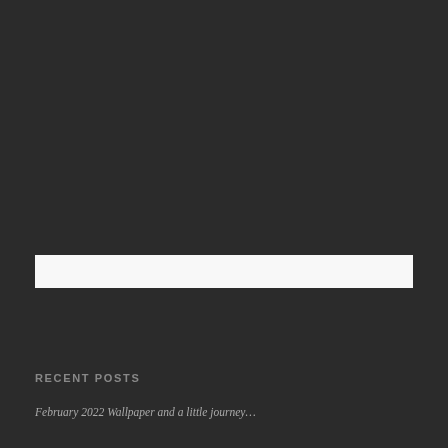[Figure (other): Search input bar, white/light background, centered on dark page background]
RECENT POSTS
February 2022 Wallpaper and a little journey…